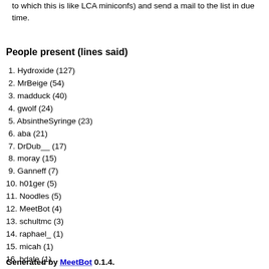to which this is like LCA miniconfs) and send a mail to the list in due time.
People present (lines said)
Hydroxide (127)
MrBeige (54)
madduck (40)
gwolf (24)
AbsintheSyringe (23)
aba (21)
DrDub__ (17)
moray (15)
Ganneff (7)
h01ger (5)
Noodles (5)
MeetBot (4)
schultmc (3)
raphael_ (1)
micah (1)
bdale (1)
Generated by MeetBot 0.1.4.